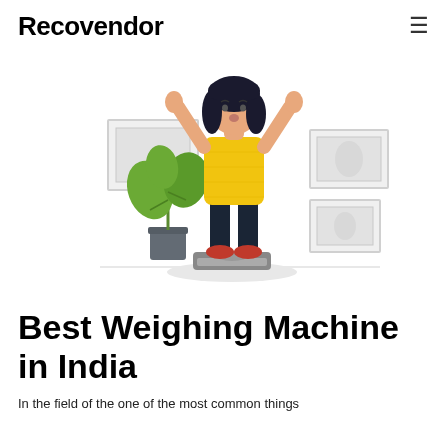Recovendor
[Figure (illustration): Flat style illustration of a woman in a yellow top and dark pants standing on a weighing scale with arms raised, a potted plant beside her, and framed pictures on the wall behind her.]
Best Weighing Machine in India
In the field of the one of the most common things